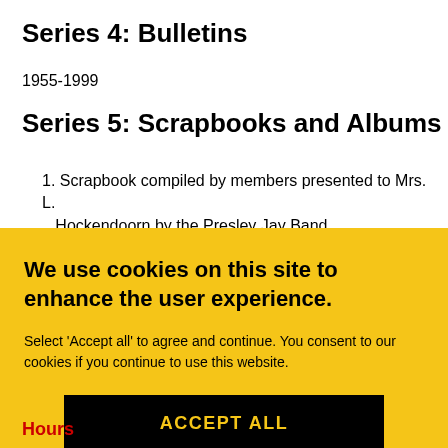Series 4: Bulletins
1955-1999
Series 5: Scrapbooks and Albums
1. Scrapbook compiled by members presented to Mrs. L. Hockendoorn by the Presley Jay Band
We use cookies on this site to enhance the user experience.
Select 'Accept all' to agree and continue. You consent to our cookies if you continue to use this website.
ACCEPT ALL
Hours